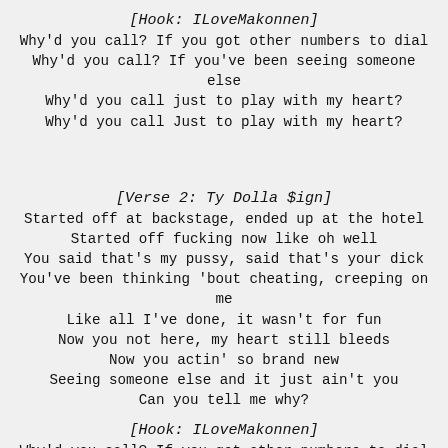[Hook: ILoveMakonnen]
Why'd you call? If you got other numbers to dial
Why'd you call? If you've been seeing someone else
Why'd you call just to play with my heart?
Why'd you call Just to play with my heart?
[Verse 2: Ty Dolla $ign]
Started off at backstage, ended up at the hotel
Started off fucking now like oh well
You said that's my pussy, said that's your dick
You've been thinking 'bout cheating, creeping on me
Like all I've done, it wasn't for fun
Now you not here, my heart still bleeds
Now you actin' so brand new
Seeing someone else and it just ain't you
Can you tell me why?
[Hook: ILoveMakonnen]
Why'd you call? If you got other numbers to dial
Why'd you call? If you've been seeing someone else
Why'd you call just to play with my heart?